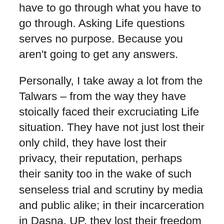have to go through what you have to go through. Asking Life questions serves no purpose. Because you aren't going to get any answers.
Personally, I take away a lot from the Talwars – from the way they have stoically faced their excruciating Life situation. They have not just lost their only child, they have lost their privacy, their reputation, perhaps their sanity too in the wake of such senseless trial and scrutiny by media and public alike; in their incarceration in Dasna, UP, they lost their freedom too – yet they have soldiered on. At each stage, they have done what they had to do, and what they could do – which is, they have relied on the legal system. However biased the system may have been against them, they have ploughed on within its framework. To me, Nupur and Rajesh are embodiments of what the Bhagavad Gita urges all of us to do – focus on our actions,